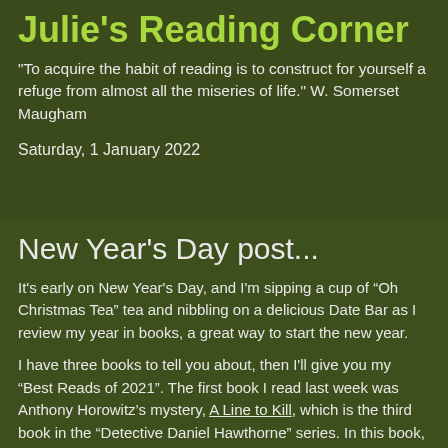Julie's Reading Corner
"To acquire the habit of reading is to construct for yourself a refuge from almost all the miseries of life." W. Somerset Maugham
Saturday, 1 January 2022
New Year's Day post...
It's early on New Year's Day, and I'm sipping a cup of “Oh Christmas Tea” tea and nibbling on a delicious Date Bar as I review my year in books, a great way to start the new year.
I have three books to tell you about, then I'll give you my “Best Reads of 2021”.  The first book I read last week was Anthony Horowitz’s mystery, A Line to Kill, which is the third book in the “Detective Daniel Hawthorne” series.  In this book, Horowitz and Hawthorne are paired up once again but this time, rather than